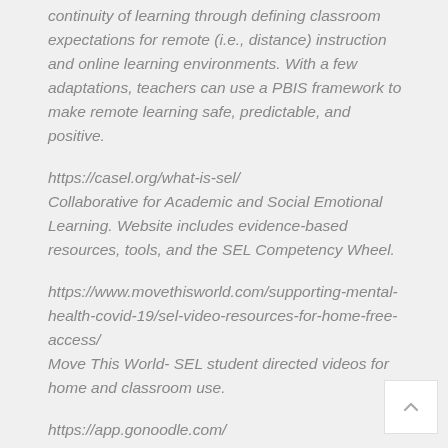continuity of learning through defining classroom expectations for remote (i.e., distance) instruction and online learning environments. With a few adaptations, teachers can use a PBIS framework to make remote learning safe, predictable, and positive.
https://casel.org/what-is-sel/ Collaborative for Academic and Social Emotional Learning. Website includes evidence-based resources, tools, and the SEL Competency Wheel.
https://www.movethisworld.com/supporting-mental-health-covid-19/sel-video-resources-for-home-free-access/ Move This World- SEL student directed videos for home and classroom use.
https://app.gonoodle.com/